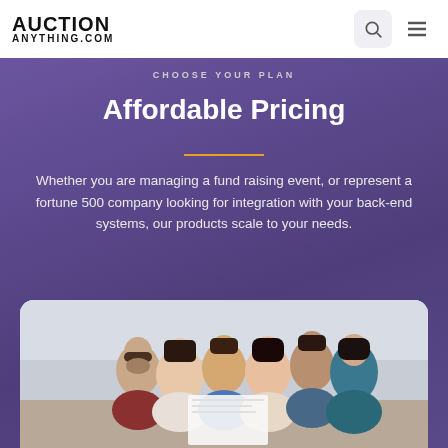[Figure (logo): AuctionAnything.com logo in bold black uppercase text]
CHOOSE YOUR PLAN
Affordable Pricing
Whether you are managing a fund raising event, or represent a fortune 500 company looking for integration with your back-end systems, our products scale to your needs.
[Figure (photo): Group of diverse young people gathered together looking at something, smiling and engaged, in an office or casual setting]